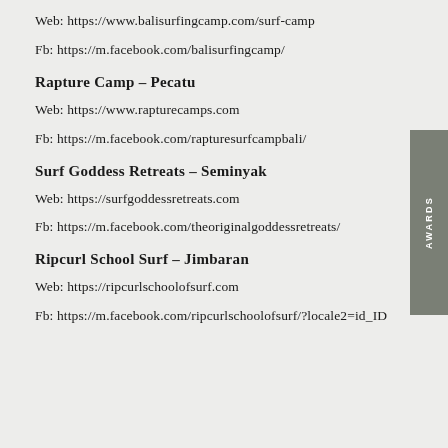Web: https://www.balisurfingcamp.com/surf-camp
Fb: https://m.facebook.com/balisurfingcamp/
Rapture Camp – Pecatu
Web: https://www.rapturecamps.com
Fb: https://m.facebook.com/rapturesurfcampbali/
Surf Goddess Retreats – Seminyak
Web: https://surfgoddessretreats.com
Fb: https://m.facebook.com/theoriginalgoddessretreats/
Ripcurl School Surf – Jimbaran
Web: https://ripcurlschoolofsurf.com
Fb: https://m.facebook.com/ripcurlschoolofsurf/?locale2=id_ID